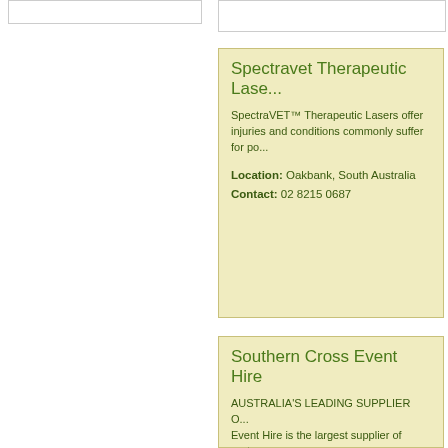Spectravet Therapeutic Lase...
SpectraVET™ Therapeutic Lasers offer injuries and conditions commonly suffer for po...
Location: Oakbank, South Australia
Contact: 02 8215 0687
Southern Cross Event Hire
AUSTRALIA'S LEADING SUPPLIER O... Event Hire is the largest supplier of port... Hemisphere. We are owned an...
Location: Clonbinane, Victoria
Contact: 0428331549